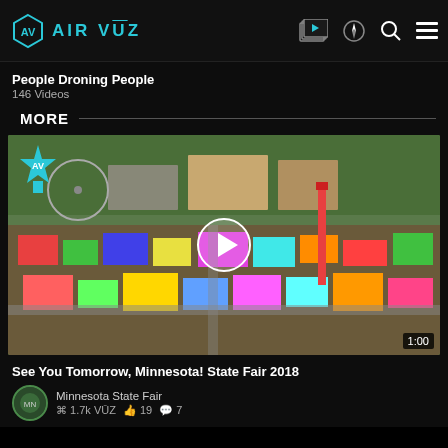AirVūz — navigation header with logo and icons
People Droning People
146 Videos
MORE
[Figure (screenshot): Aerial drone video thumbnail of Minnesota State Fair 2018 showing colorful carnival rides and crowds from above, with a play button overlay, AirVuz badge in top-left corner, and duration '1:00' in bottom-right corner.]
See You Tomorrow, Minnesota! State Fair 2018
Minnesota State Fair  1.7k VŪZ  👍 19  💬 7